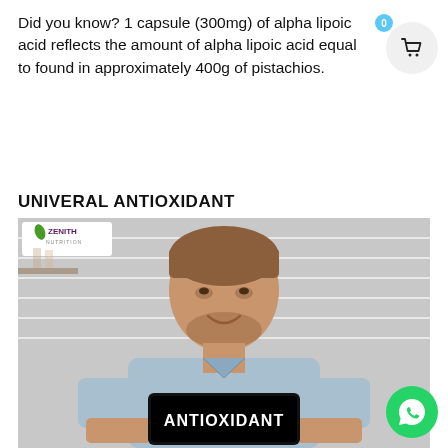Did you know? 1 capsule (300mg) of alpha lipoic acid reflects the amount of alpha lipoic acid equal to found in approximately 400g of pistachios.
UNIVERAL ANTIOXIDANT
[Figure (photo): A smiling man in a light blue shirt holding a tablet/sign displaying the word ANTIOXIDANT in white bold text on a black background, with a Zenith Nutrition logo visible in the top-left corner of the image. Background is a kitchen with white brick tiles.]